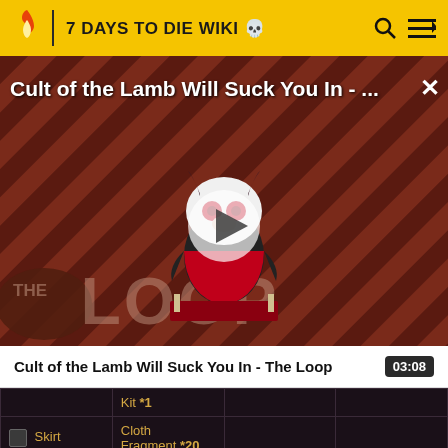7 DAYS TO DIE WIKI
[Figure (screenshot): Video thumbnail for 'Cult of the Lamb Will Suck You In - The Loop' showing a cartoon lamb character with red eyes on a striped background, with a play button overlay and THE LOOP logo at the bottom left. Duration shown as 03:08.]
Cult of the Lamb Will Suck You In - The Loop
|  |  |  |  |
| --- | --- | --- | --- |
|  | Kit *1 |  |  |
| Skirt | Cloth Fragment *20 |  |  |